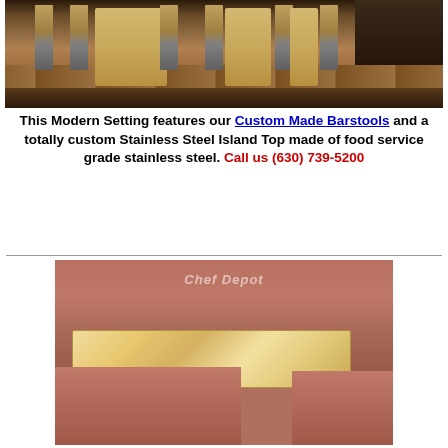[Figure (photo): Restaurant setting with bar stools and a stainless steel island top on a wood plank floor]
This Modern Setting features our Custom Made Barstools and a totally custom Stainless Steel Island Top made of food service grade stainless steel. Call us (630) 739-5200
[Figure (photo): Butcher block wood table top on a restaurant booth with red/brown vinyl seating, watermark reads Chef Depot]